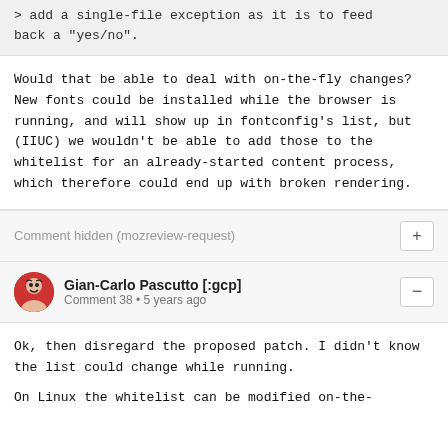> add a single-file exception as it is to feed back a "yes/no".
Would that be able to deal with on-the-fly changes? New fonts could be installed while the browser is running, and will show up in fontconfig's list, but (IIUC) we wouldn't be able to add those to the whitelist for an already-started content process, which therefore could end up with broken rendering.
Comment hidden (mozreview-request)
Gian-Carlo Pascutto [:gcp]
Comment 38 • 5 years ago
Ok, then disregard the proposed patch. I didn't know the list could change while running.

On Linux the whitelist can be modified on-the-